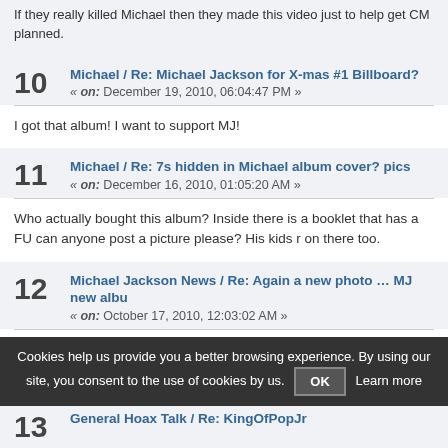If they really killed Michael then they made this video just to help get CM planned.
10 Michael / Re: Michael Jackson for X-mas #1 Billboard? « on: December 19, 2010, 06:04:47 PM »
I got that album! I want to support MJ!
11 Michael / Re: 7s hidden in Michael album cover? pics « on: December 16, 2010, 01:05:20 AM »
Who actually bought this album? Inside there is a booklet that has a FU can anyone post a picture please? His kids r on there too.
12 Michael Jackson News / Re: Again a new photo ... MJ new albu « on: October 17, 2010, 12:03:02 AM »
MJ is hot as hell, i'd so go out with him 😊
Cookies help us provide you a better browsing experience. By using our site, you consent to the use of cookies by us. OK Learn more
13 General Hoax Talk / Re: KingOfPopJr